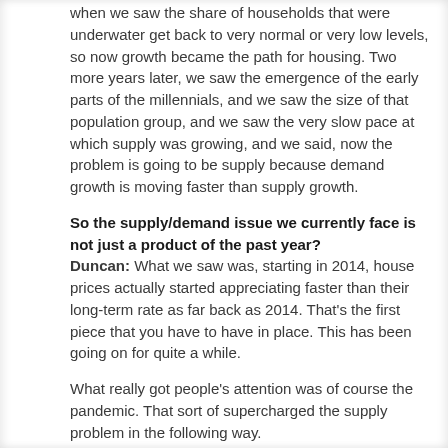when we saw the share of households that were underwater get back to very normal or very low levels, so now growth became the path for housing. Two more years later, we saw the emergence of the early parts of the millennials, and we saw the size of that population group, and we saw the very slow pace at which supply was growing, and we said, now the problem is going to be supply because demand growth is moving faster than supply growth.
So the supply/demand issue we currently face is not just a product of the past year? Duncan: What we saw was, starting in 2014, house prices actually started appreciating faster than their long-term rate as far back as 2014. That's the first piece that you have to have in place. This has been going on for quite a while.
What really got people's attention was of course the pandemic. That sort of supercharged the supply problem in the following way.